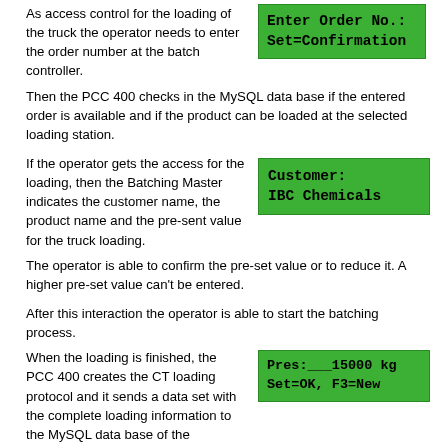As access control for the loading of the truck the operator needs to enter the order number at the batch controller.
[Figure (screenshot): Green LCD display showing: Enter Order No.: Set=Confirmation]
Then the PCC 400 checks in the MySQL data base if the entered order is available and if the product can be loaded at the selected loading station.
If the operator gets the access for the loading, then the Batching Master indicates the customer name, the product name and the pre-sent value for the truck loading. The operator is able to confirm the pre-set value or to reduce it. A higher pre-set value can't be entered.
[Figure (screenshot): Green LCD display showing: Customer: IBC Chemicals]
After this interaction the operator is able to start the batching process.
When the loading is finished, the PCC 400 creates the CT loading protocol and it sends a data set with the complete loading information to the MySQL data base of the customer. This information will be used for
[Figure (screenshot): Green LCD display showing: Pres:___15000 kg Set=OK, F3=New]